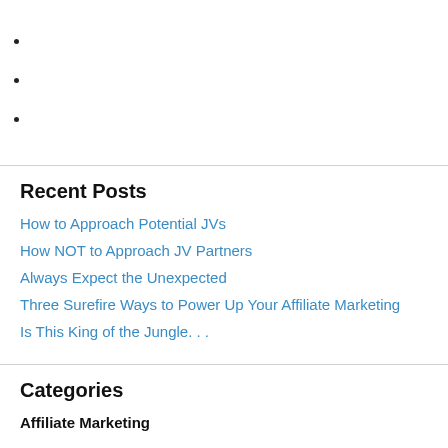Recent Posts
How to Approach Potential JVs
How NOT to Approach JV Partners
Always Expect the Unexpected
Three Surefire Ways to Power Up Your Affiliate Marketing
Is This King of the Jungle. . .
Categories
Affiliate Marketing